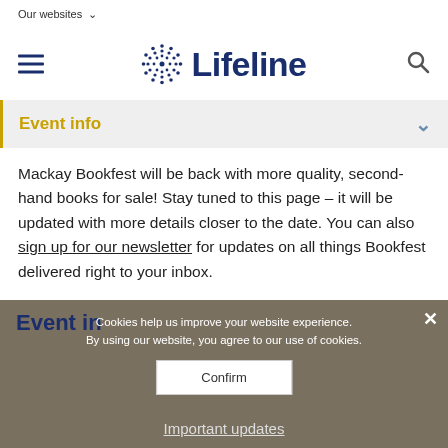Our websites ∨
[Figure (logo): Lifeline logo with circular dot pattern icon and bold 'Lifeline' text in dark navy blue]
Event info
Mackay Bookfest will be back with more quality, second-hand books for sale! Stay tuned to this page – it will be updated with more details closer to the date. You can also sign up for our newsletter for updates on all things Bookfest delivered right to your inbox.
Event in...
Cookies help us improve your website experience. By using our website, you agree to our use of cookies.
Confirm
Important updates